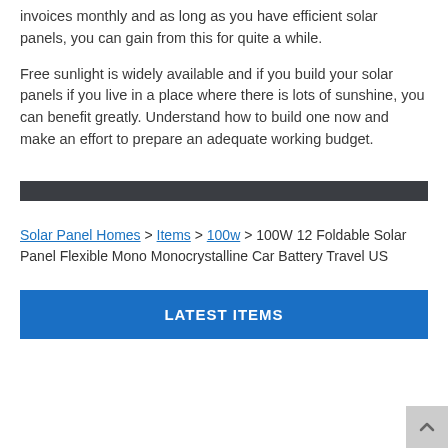invoices monthly and as long as you have efficient solar panels, you can gain from this for quite a while.
Free sunlight is widely available and if you build your solar panels if you live in a place where there is lots of sunshine, you can benefit greatly. Understand how to build one now and make an effort to prepare an adequate working budget.
Solar Panel Homes > Items > 100w > 100W 12 Foldable Solar Panel Flexible Mono Monocrystalline Car Battery Travel US
LATEST ITEMS